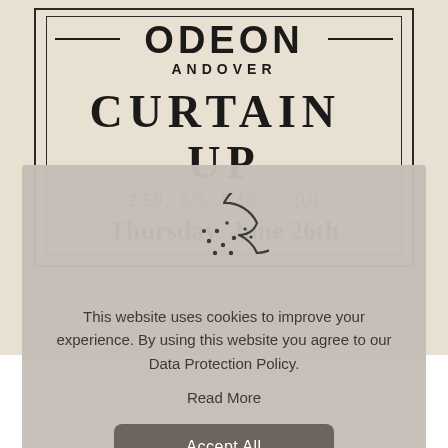ODEON
ANDOVER
CURTAIN UP
2.50,  6.0,  9.10     (U)
Thursday  June 26th
[Figure (illustration): Cookie icon — a round cookie with a bite taken out of the upper right, with small dot crumbs scattered inside]
This website uses cookies to improve your experience. By using this website you agree to our Data Protection Policy.
Read More
Accept All